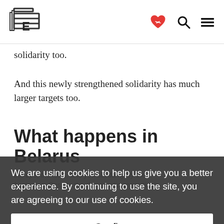[Logo] [heart-handshake icon] [search icon] [menu icon]
solidarity too.
And this newly strengthened solidarity has much larger targets too.
What happens in Belarus
We are using cookies to help us give you a better experience. By continuing to use the site, you are agreeing to our use of cookies.
Confirm